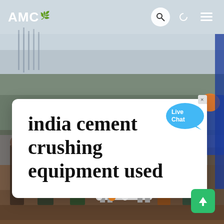AMC
[Figure (photo): Construction site photo showing workers standing around a small white machine/equipment on a dirt surface, with building scaffolding in the background under an overcast sky.]
india cement crushing equipment used
[Figure (illustration): Live Chat speech bubble in blue with text 'Live Chat' and a close (x) button]
[Figure (illustration): Carousel navigation dots: three dots with the middle one highlighted in orange]
[Figure (illustration): Green scroll-to-top button with an upward arrow icon in the bottom right corner]